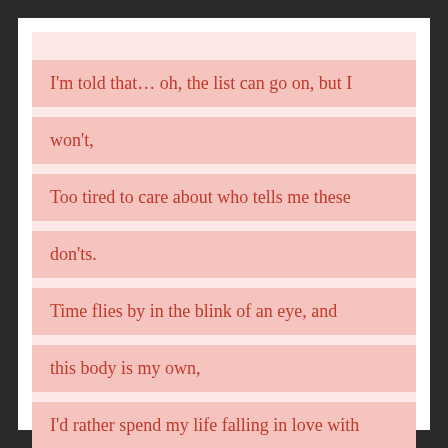I'm told that… oh, the list can go on, but I won't,
Too tired to care about who tells me these don'ts.
Time flies by in the blink of an eye, and this body is my own,
I'd rather spend my life falling in love with it truly till I'm gone.